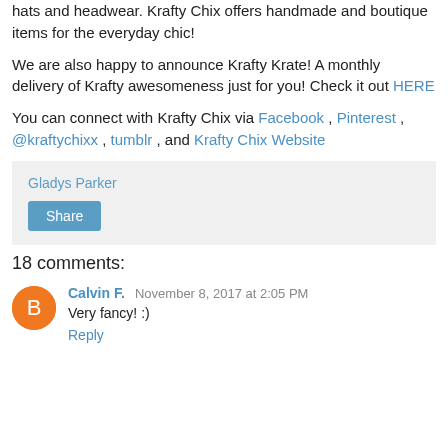hats and headwear. Krafty Chix offers handmade and boutique items for the everyday chic!
We are also happy to announce Krafty Krate! A monthly delivery of Krafty awesomeness just for you! Check it out HERE
You can connect with Krafty Chix via Facebook , Pinterest , @kraftychixx , tumblr , and Krafty Chix Website
Gladys Parker
Share
18 comments:
Calvin F. November 8, 2017 at 2:05 PM
Very fancy! :)
Reply